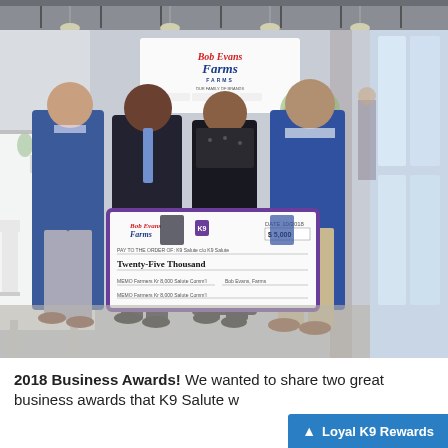[Figure (photo): Four people standing indoors in a bright event space, holding a large oversized check from Bob Evans Farms. A Bob Evans Farms banner is visible in the background. The check reads 'Twenty-Five Thousand' dollars. Tables with white tablecloths are on the left, large windows on the right.]
2018 Business Awards! We wanted to share two great business awards that K9 Salute w...
Loyal K9 Rewards